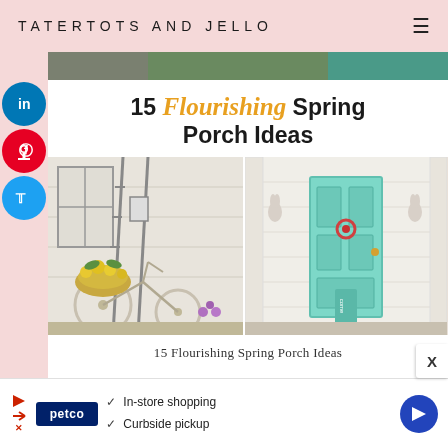TATERTOTS AND JELLO
[Figure (screenshot): Website screenshot of Tatertots and Jello blog showing a Pinterest card for '15 Flourishing Spring Porch Ideas' with social sharing buttons (LinkedIn, Pinterest, Twitter) on the left, a collage of two spring porch photos, and the article title. Below is a Petco advertisement banner with 'In-store shopping' and 'Curbside pickup' checkmarks.]
15 Flourishing Spring Porch Ideas
In-store shopping
Curbside pickup